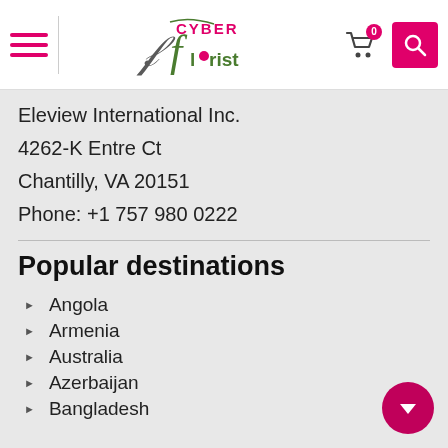Cyber Florist — Navigation header with hamburger menu, logo, cart (0), and search
Eleview International Inc.
4262-K Entre Ct
Chantilly, VA 20151
Phone: +1 757 980 0222
Popular destinations
Angola
Armenia
Australia
Azerbaijan
Bangladesh